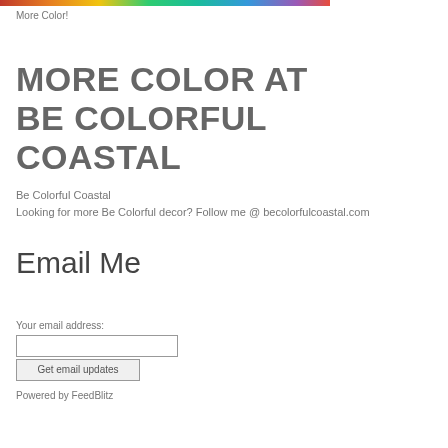[Figure (photo): Colorful image strip at top of page]
More Color!
MORE COLOR AT BE COLORFUL COASTAL
Be Colorful Coastal
Looking for more Be Colorful decor? Follow me @ becolorfulcoastal.com
Email Me
Your email address:
Get email updates
Powered by FeedBlitz